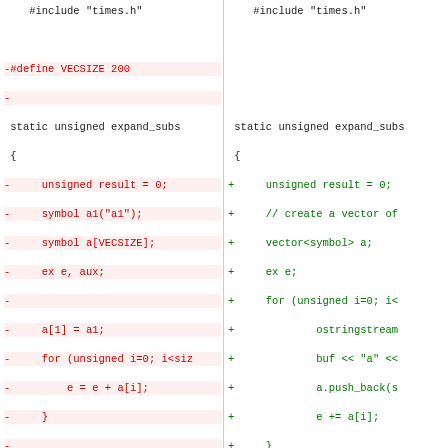[Figure (screenshot): Code diff showing two columns of C++ source code. Left column shows removed lines in red, right column shows added lines in green. Both columns show a function expand_subs with changes to use vector<symbol> instead of a fixed-size array, and other modifications to the algorithm.]